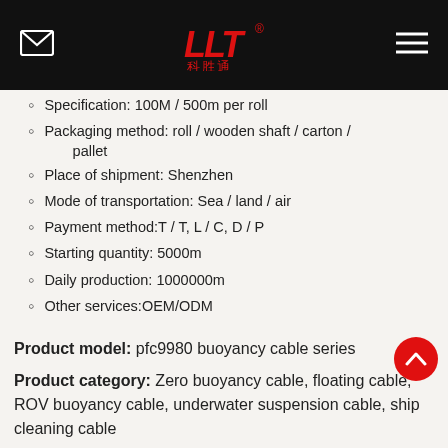LLT logo with email and menu icons
Specification: 100M / 500m per roll
Packaging method: roll / wooden shaft / carton / pallet
Place of shipment: Shenzhen
Mode of transportation: Sea / land / air
Payment method:T / T, L / C, D / P
Starting quantity: 5000m
Daily production: 1000000m
Other services:OEM/ODM
Product model: pfc9980 buoyancy cable series
Product category: Zero buoyancy cable, floating cable, ROV buoyancy cable, underwater suspension cable, ship cleaning cable